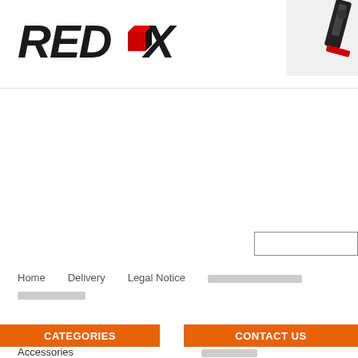[Figure (logo): REDBOX logo with red cube replacing the letter O, italic bold black text]
[Figure (photo): Product image partially visible in top right corner showing a dark mechanical/tool item]
[Figure (screenshot): Search input box, empty, with border]
Home    Delivery    Legal Notice    [Thai text]
[Thai text second row]
CATEGORIES
CONTACT US
Accessories
[Contact sub text]